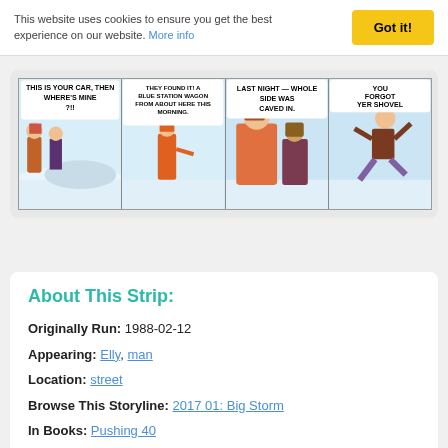This website uses cookies to ensure you get the best experience on our website. More info
[Figure (illustration): A four-panel comic strip in a winter/snow setting. Panel 1: A woman says 'THIS IS YOUR CAR, THEN WHERE'S MINE?!' Panel 2: A person in orange says 'THEY FOUND IT! A BLUE STATION WAGON FROM ABOUT HERE THIS MORNING.' Panel 3: Two people talking, one says 'LAST NIGHT - WHOLE SIDE WAS CAVED IN.' Panel 4: A person jumping/falling with text 'YOU FORGOT YER SHOVEL']
About This Strip:
Originally Run: 1988-02-12
Appearing: Elly, man
Location: street
Browse This Storyline: 2017 01: Big Storm
In Books: Pushing 40
Daily or Sunday: daily